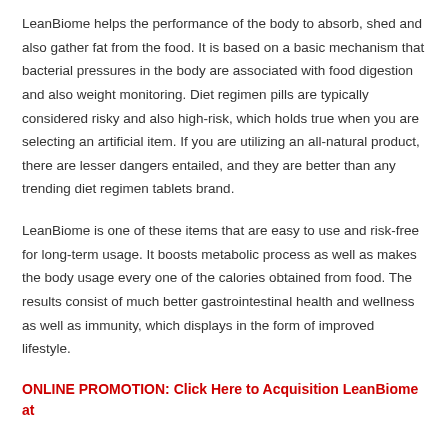LeanBiome helps the performance of the body to absorb, shed and also gather fat from the food. It is based on a basic mechanism that bacterial pressures in the body are associated with food digestion and also weight monitoring. Diet regimen pills are typically considered risky and also high-risk, which holds true when you are selecting an artificial item. If you are utilizing an all-natural product, there are lesser dangers entailed, and they are better than any trending diet regimen tablets brand.
LeanBiome is one of these items that are easy to use and risk-free for long-term usage. It boosts metabolic process as well as makes the body usage every one of the calories obtained from food. The results consist of much better gastrointestinal health and wellness as well as immunity, which displays in the form of improved lifestyle.
ONLINE PROMOTION: Click Here to Acquisition LeanBiome at